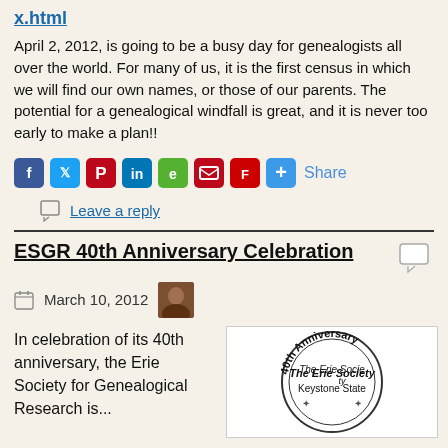x.html
April 2, 2012, is going to be a busy day for genealogists all over the world. For many of us, it is the first census in which we will find our own names, or those of our parents. The potential for a genealogical windfall is great, and it is never too early to make a plan!!
[Figure (other): Social sharing icons: Facebook, Twitter, Pinterest, LinkedIn, Evernote, Pocket, Flipboard, Add/Share button, and Share text link]
Leave a reply
ESGR 40th Anniversary Celebration
March 10, 2012
In celebration of its 40th anniversary, the Erie Society for Genealogical Research is...
[Figure (logo): The Erie Society 40th Anniversary logo with text '40th Anniversary', 'The Erie Society', 'Keystone State' arranged in a circular seal design]